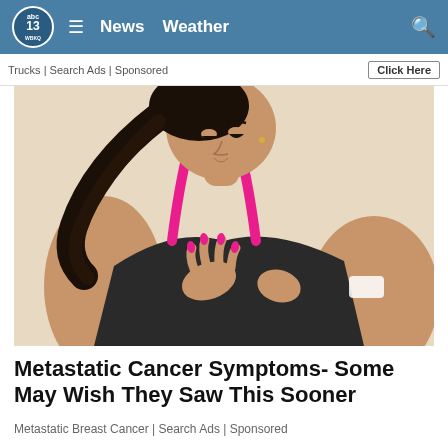abc13 WBKQ | News  Weather
Trucks | Search Ads | Sponsored   Click Here
[Figure (photo): Young woman in a pink and black sports bra holding her chest/breast area with a pained expression, looking downward. Background is a light beige/tan color.]
Metastatic Cancer Symptoms- Some May Wish They Saw This Sooner
Metastatic Breast Cancer | Search Ads | Sponsored